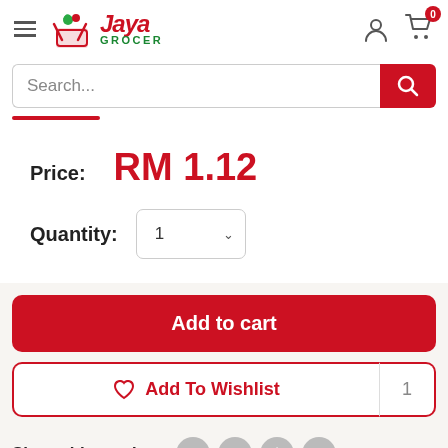[Figure (logo): Jaya Grocer logo with shopping cart icon and vegetables]
Search...
Price: RM 1.12
Quantity: 1
Add to cart
Add To Wishlist
Share this product